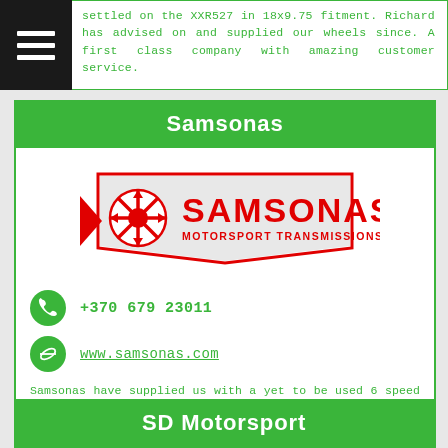settled on the XXR527 in 18x9.75 fitment. Richard has advised on and supplied our wheels since. A first class company with amazing customer service.
Samsonas
[Figure (logo): Samsonas Motorsport Transmissions logo in red and white]
+370 679 23011
www.samsonas.com
Samsonas have supplied us with a yet to be used 6 speed sequential gearbox that will be built into our supplied casing. More to come on this once tested.
SD Motorsport